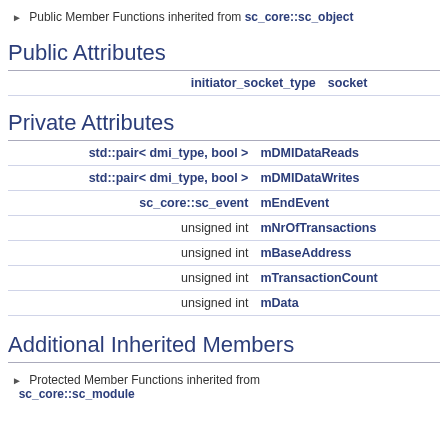Public Member Functions inherited from sc_core::sc_object
Public Attributes
| type | name |
| --- | --- |
| initiator_socket_type | socket |
Private Attributes
| type | name |
| --- | --- |
| std::pair< dmi_type, bool > | mDMIDataReads |
| std::pair< dmi_type, bool > | mDMIDataWrites |
| sc_core::sc_event | mEndEvent |
| unsigned int | mNrOfTransactions |
| unsigned int | mBaseAddress |
| unsigned int | mTransactionCount |
| unsigned int | mData |
Additional Inherited Members
Protected Member Functions inherited from sc_core::sc_module